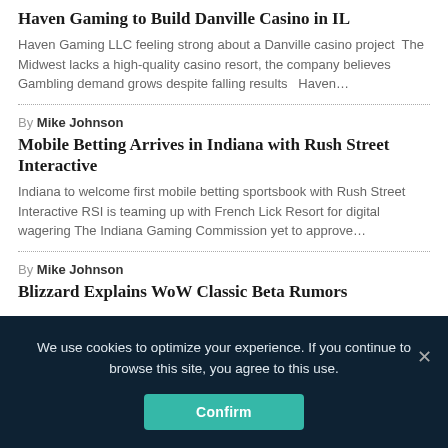Haven Gaming to Build Danville Casino in IL
Haven Gaming LLC feeling strong about a Danville casino project The Midwest lacks a high-quality casino resort, the company believes Gambling demand grows despite falling results   Haven…
By Mike Johnson
Mobile Betting Arrives in Indiana with Rush Street Interactive
Indiana to welcome first mobile betting sportsbook with Rush Street Interactive RSI is teaming up with French Lick Resort for digital wagering The Indiana Gaming Commission yet to approve…
By Mike Johnson
Blizzard Explains WoW Classic Beta Rumors
We use cookies to optimize your experience. If you continue to browse this site, you agree to this use.